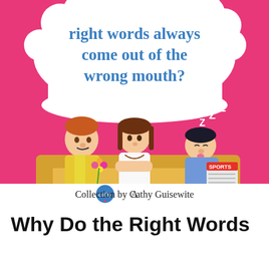[Figure (illustration): Book cover with pink/magenta background. A thought bubble at top contains text 'right words always come out of the wrong mouth?' in blue. Below are three cartoon characters sitting on a yellow sofa: a man in plaid pants holding flowers with heart symbols, a woman in white with arms crossed and thought bubble dots above her head, and a man sleeping with 'ZZZ' and holding a Sports newspaper. At the bottom of the cover: 'A cathy Collection by Cathy Guisewite' with the Cathy logo badge.]
Why Do the Right Words